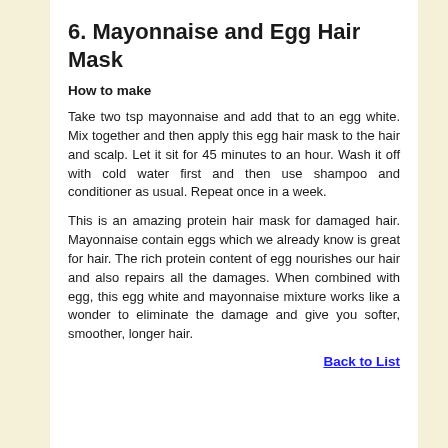6. Mayonnaise and Egg Hair Mask
How to make
Take two tsp mayonnaise and add that to an egg white. Mix together and then apply this egg hair mask to the hair and scalp. Let it sit for 45 minutes to an hour. Wash it off with cold water first and then use shampoo and conditioner as usual. Repeat once in a week.
This is an amazing protein hair mask for damaged hair. Mayonnaise contain eggs which we already know is great for hair. The rich protein content of egg nourishes our hair and also repairs all the damages. When combined with egg, this egg white and mayonnaise mixture works like a wonder to eliminate the damage and give you softer, smoother, longer hair.
Back to List